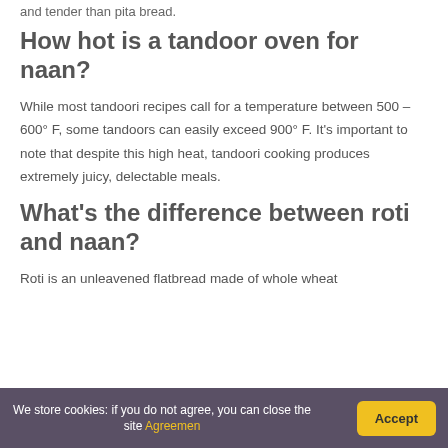and tender than pita bread.
How hot is a tandoor oven for naan?
While most tandoori recipes call for a temperature between 500 – 600° F, some tandoors can easily exceed 900° F. It's important to note that despite this high heat, tandoori cooking produces extremely juicy, delectable meals.
What's the difference between roti and naan?
Roti is an unleavened flatbread made of whole wheat
We store cookies: if you do not agree, you can close the site Agreemen
Accept